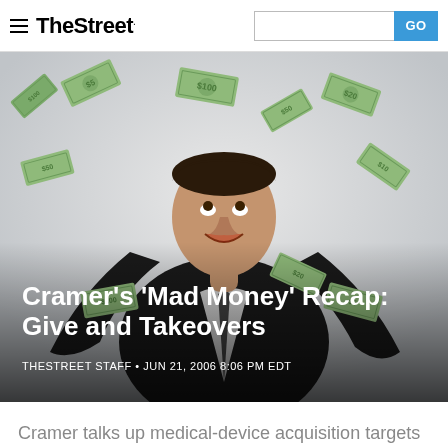TheStreet
[Figure (photo): Man in dark suit looking upward joyfully with US dollar bills raining/flying all around him against a light background]
Cramer's 'Mad Money' Recap: Give and Takeovers
THESTREET STAFF • JUN 21, 2006 8:06 PM EDT
Cramer talks up medical-device acquisition targets